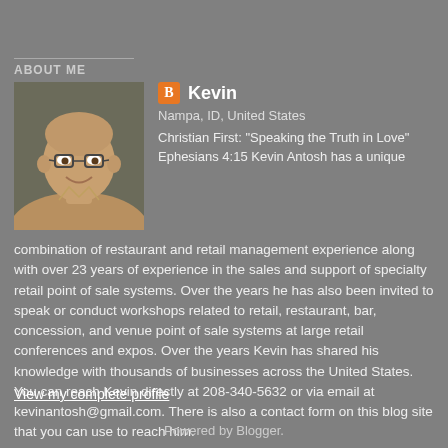ABOUT ME
[Figure (photo): Profile photo of Kevin, a middle-aged bald man wearing glasses and a tan/beige shirt, smiling]
Kevin
Nampa, ID, United States
Christian First: "Speaking the Truth in Love" Ephesians 4:15 Kevin Antosh has a unique combination of restaurant and retail management experience along with over 23 years of experience in the sales and support of specialty retail point of sale systems. Over the years he has also been invited to speak or conduct workshops related to retail, restaurant, bar, concession, and venue point of sale systems at large retail conferences and expos. Over the years Kevin has shared his knowledge with thousands of businesses across the United States. You can reach Kevin directly at 208-340-5632 or via email at kevinantosh@gmail.com. There is also a contact form on this blog site that you can use to reach him.
View my complete profile
Powered by Blogger.